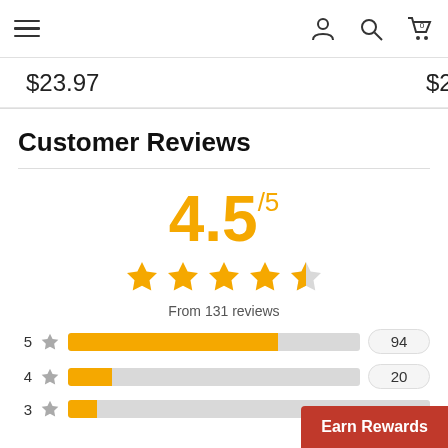Navigation bar with hamburger menu, user icon, search icon, cart icon (0)
$23.97   $2...
Customer Reviews
[Figure (other): Star rating display showing 4.5 out of 5 stars from 131 reviews, with breakdown bars: 5 stars=94, 4 stars=20, 3 stars (partially visible)]
4.5/5
From 131 reviews
5 ★ 94
4 ★ 20
3 ★
Earn Rewards